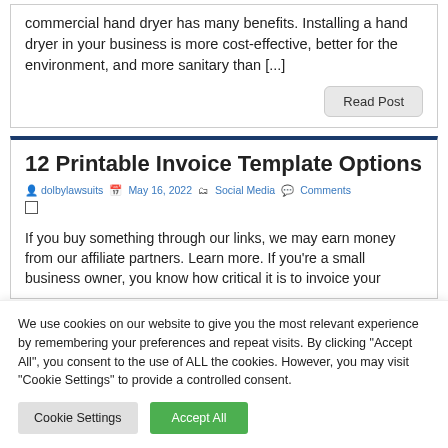commercial hand dryer has many benefits. Installing a hand dryer in your business is more cost-effective, better for the environment, and more sanitary than [...]
Read Post
12 Printable Invoice Template Options
dolbylawsuits  May 16, 2022  Social Media  Comments
If you buy something through our links, we may earn money from our affiliate partners. Learn more. If you're a small business owner, you know how critical it is to invoice your
We use cookies on our website to give you the most relevant experience by remembering your preferences and repeat visits. By clicking "Accept All", you consent to the use of ALL the cookies. However, you may visit "Cookie Settings" to provide a controlled consent.
Cookie Settings
Accept All